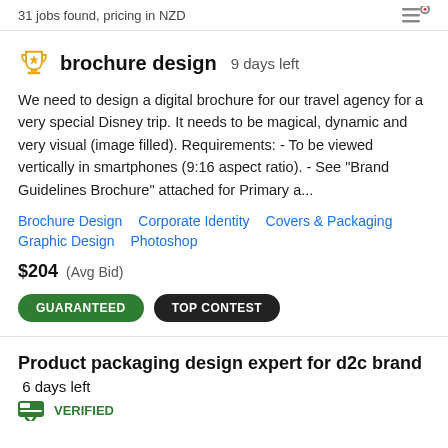31 jobs found, pricing in NZD
brochure design  9 days left
We need to design a digital brochure for our travel agency for a very special Disney trip. It needs to be magical, dynamic and very visual (image filled). Requirements: - To be viewed vertically in smartphones (9:16 aspect ratio). - See "Brand Guidelines Brochure" attached for Primary a...
Brochure Design
Corporate Identity
Covers & Packaging
Graphic Design
Photoshop
$204  (Avg Bid)
GUARANTEED   TOP CONTEST
Product packaging design expert for d2c brand  6 days left
VERIFIED